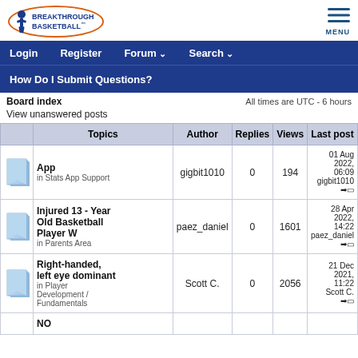[Figure (logo): Breakthrough Basketball logo — oval with player figure and text]
MENU
Login   Register   Forum ▾   Search ▾
How Do I Submit Questions?
Board index   All times are UTC - 6 hours
View unanswered posts
|  | Topics | Author | Replies | Views | Last post |
| --- | --- | --- | --- | --- | --- |
| [icon] | App
in Stats App Support | gigbit1010 | 0 | 194 | 01 Aug 2022, 06:09
gigbit1010 ➜ |
| [icon] | Injured 13 - Year Old Basketball Player W
in Parents Area | paez_daniel | 0 | 1601 | 28 Apr 2022, 14:22
paez_daniel ➜ |
| [icon] | Right-handed, left eye dominant
in Player Development / Fundamentals | Scott C. | 0 | 2056 | 21 Dec 2021, 11:22
Scott C. ➜ |
| [icon] | NO |  |  |  |  |